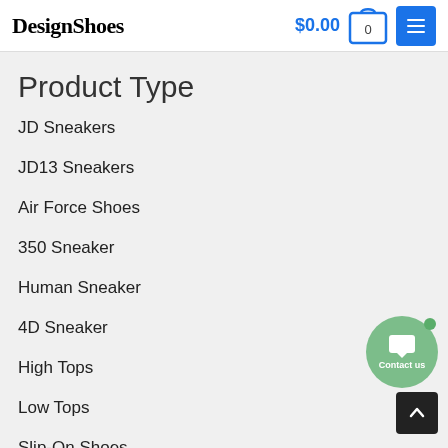DesignShoes — $0.00, cart: 0
Product Type
JD Sneakers
JD13 Sneakers
Air Force Shoes
350 Sneaker
Human Sneaker
4D Sneaker
High Tops
Low Tops
Slip-On Shoes
Leather Boots